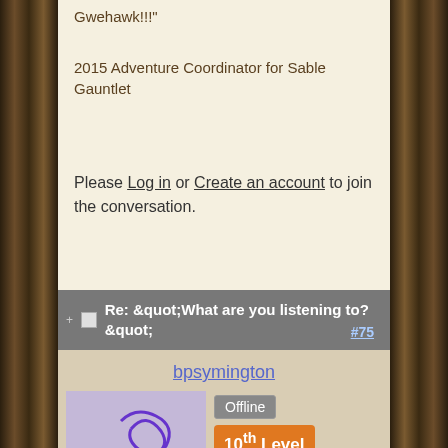Gwehawk!!!"
2015 Adventure Coordinator for Sable Gauntlet
Please Log in or Create an account to join the conversation.
Re: &quot;What are you listening to? &quot; #75
bpsymington
Offline
10th Level
Supporter
Follow me on